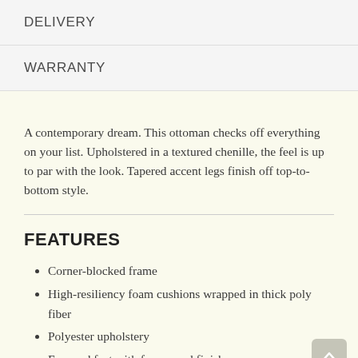DELIVERY
WARRANTY
A contemporary dream. This ottoman checks off everything on your list. Upholstered in a textured chenille, the feel is up to par with the look. Tapered accent legs finish off top-to-bottom style.
FEATURES
Corner-blocked frame
High-resiliency foam cushions wrapped in thick poly fiber
Polyester upholstery
Exposed feet with faux wood finish